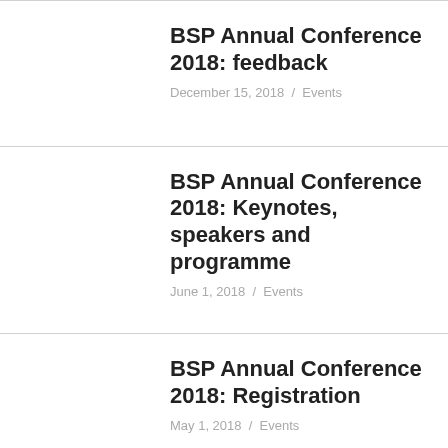BSP Annual Conference 2018: feedback
December 15, 2018  /  Events
BSP Annual Conference 2018: Keynotes, speakers and programme
June 1, 2018  /  Events
BSP Annual Conference 2018: Registration
May 1, 2018  /  Events